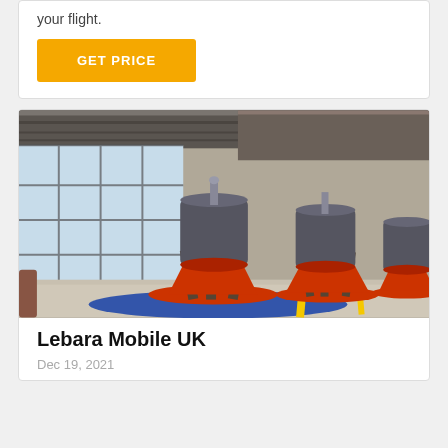your flight.
GET PRICE
[Figure (photo): Industrial cone crushers inside a large factory warehouse with large windows and gravel on the floor. Multiple grey and red cone crusher machines are visible in a row.]
Lebara Mobile UK
Dec 19, 2021